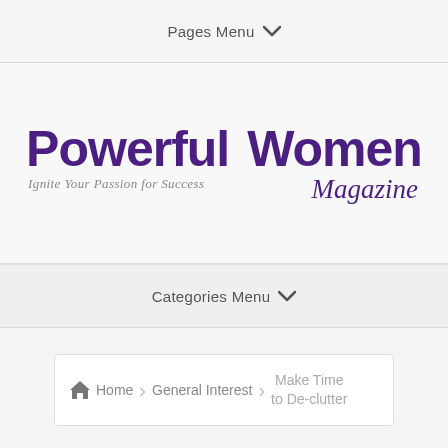Pages Menu ▾
[Figure (logo): Powerful Women Magazine logo with tagline 'Ignite Your Passion for Success']
Categories Menu ▾
Home > General Interest > Make Time to De-clutter